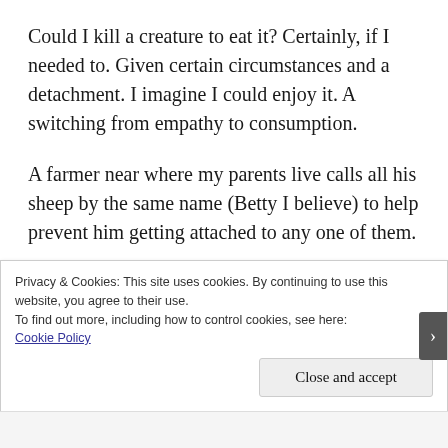Could I kill a creature to eat it? Certainly, if I needed to. Given certain circumstances and a detachment. I imagine I could enjoy it. A switching from empathy to consumption.
A farmer near where my parents live calls all his sheep by the same name (Betty I believe) to help prevent him getting attached to any one of them.
Privacy & Cookies: This site uses cookies. By continuing to use this website, you agree to their use.
To find out more, including how to control cookies, see here:
Cookie Policy